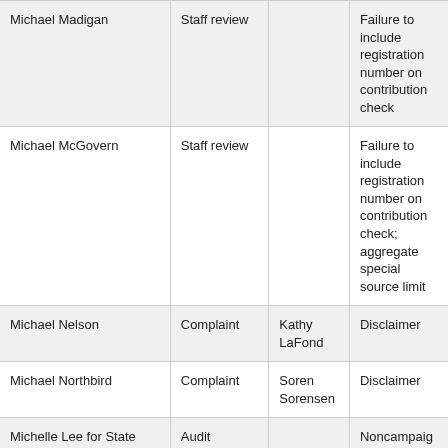| Michael Madigan | Staff review |  | Failure to include registration number on contribution check |
| Michael McGovern | Staff review |  | Failure to include registration number on contribution check; aggregate special source limit |
| Michael Nelson | Complaint | Kathy LaFond | Disclaimer |
| Michael Northbird | Complaint | Soren Sorensen | Disclaimer |
| Michelle Lee for State Senate | Audit |  | Noncampaign disbursements reported in 2019 |